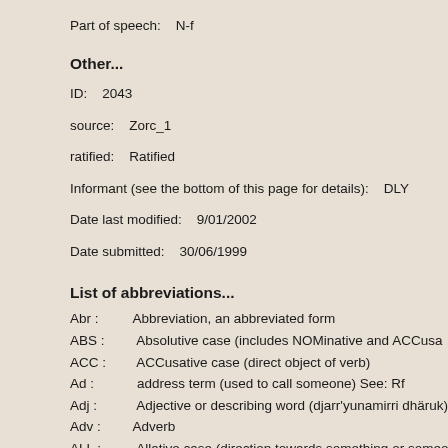Part of speech:    N-f
Other...
ID:    2043
source:    Zorc_1
ratified:    Ratified
Informant (see the bottom of this page for details):    DLY
Date last modified:    9/01/2002
Date submitted:    30/06/1999
List of abbreviations...
Abr :    Abbreviation, an abbreviated form
ABS :    Absolutive case (includes NOMinative and ACCusa...
ACC :    ACCusative case (direct object of verb)
Ad :    address term (used to call someone) See: Rf
Adj :    Adjective or describing word (djarr'yunamirri dhäruk)
Adv :    Adverb
ALL :    Allative case (direction towards something or someo...